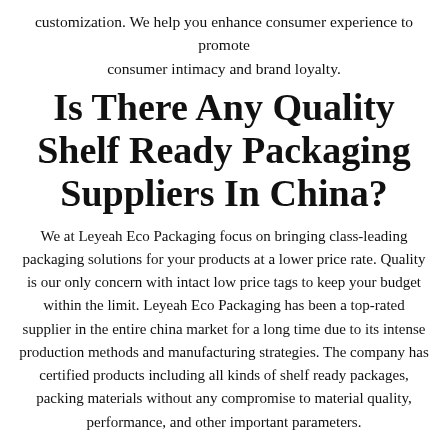customization. We help you enhance consumer experience to promote consumer intimacy and brand loyalty.
Is There Any Quality Shelf Ready Packaging Suppliers In China?
We at Leyeah Eco Packaging focus on bringing class-leading packaging solutions for your products at a lower price rate. Quality is our only concern with intact low price tags to keep your budget within the limit. Leyeah Eco Packaging has been a top-rated supplier in the entire china market for a long time due to its intense production methods and manufacturing strategies. The company has certified products including all kinds of shelf ready packages, packing materials without any compromise to material quality, performance, and other important parameters.